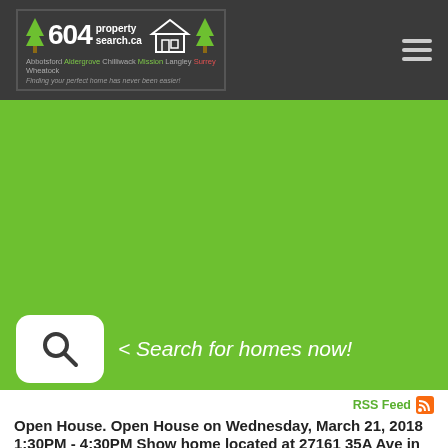604propertysearch.ca — Abbotsford Aldergrove Chilliwack Mission Langley Surrey Wheatock — Finding your perfect home has never been easier!
[Figure (infographic): Green banner with search icon and text '< Search for homes now!']
RSS Feed
Open House. Open House on Wednesday, March 21, 2018 1:30PM - 4:30PM Show home located at 27161 35A Ave in Aldergrove
Posted on March 20, 2018 by Rick VanPapeveld (RE/MAX